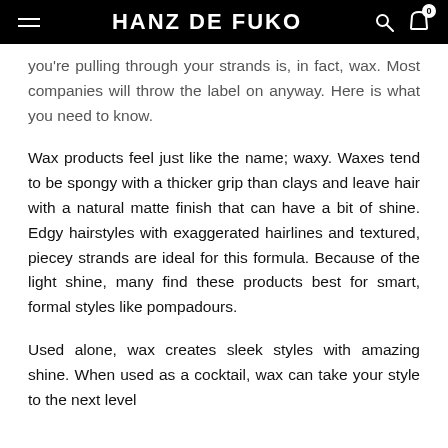HANZ DE FUKO
you're pulling through your strands is, in fact, wax. Most companies will throw the label on anyway. Here is what you need to know.
Wax products feel just like the name; waxy. Waxes tend to be spongy with a thicker grip than clays and leave hair with a natural matte finish that can have a bit of shine. Edgy hairstyles with exaggerated hairlines and textured, piecey strands are ideal for this formula. Because of the light shine, many find these products best for smart, formal styles like pompadours.
Used alone, wax creates sleek styles with amazing shine. When used as a cocktail, wax can take your style to the next level